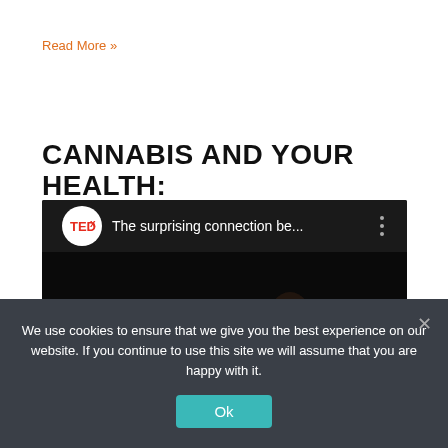Read More »
CANNABIS AND YOUR HEALTH:
[Figure (screenshot): Embedded YouTube video thumbnail showing a TEDx talk titled 'The surprising connection be...' with a TEDx logo circle on the left and a red YouTube play button in the center, on a dark/black background.]
We use cookies to ensure that we give you the best experience on our website. If you continue to use this site we will assume that you are happy with it.